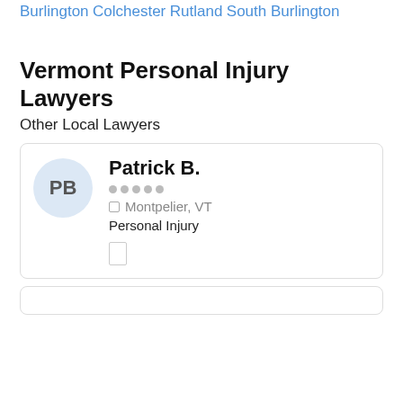Burlington
Colchester
Rutland
South Burlington
Vermont Personal Injury Lawyers
Other Local Lawyers
Patrick B.
Montpelier, VT
Personal Injury